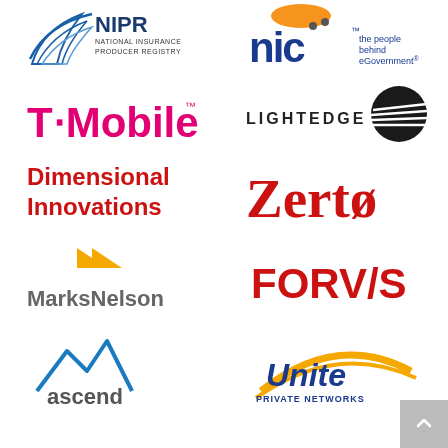[Figure (logo): NIPR National Insurance Producer Registry logo]
[Figure (logo): NIC - the people behind eGovernment logo]
[Figure (logo): T-Mobile logo]
[Figure (logo): Lightedge logo]
[Figure (logo): Dimensional Innovations logo]
[Figure (logo): Zerto logo]
[Figure (logo): MarksNelson logo]
[Figure (logo): FORVIS logo]
[Figure (logo): Ascend Learning logo]
[Figure (logo): Unite Private Networks logo]